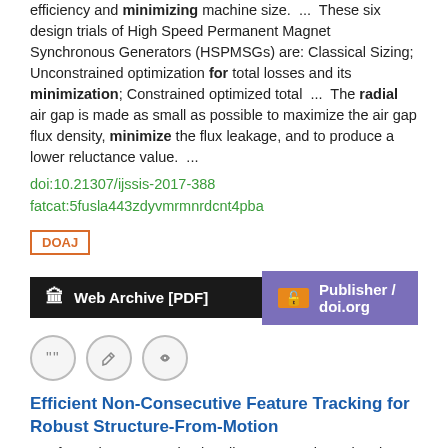efficiency and minimizing machine size. ... These six design trials of High Speed Permanent Magnet Synchronous Generators (HSPMSGs) are: Classical Sizing; Unconstrained optimization for total losses and its minimization; Constrained optimized total ... The radial air gap is made as small as possible to maximize the air gap flux density, minimize the flux leakage, and to produce a lower reluctance value. ...
doi:10.21307/ijssis-2017-388
fatcat:5fusla443zdyvmrmnrdcnt4pba
DOAJ
[Figure (other): Two buttons: 'Web Archive [PDF]' on black background and 'Publisher / doi.org' on purple background with orange lock icon]
[Figure (other): Three circular icon buttons: quote, edit, and link]
Efficient Non-Consecutive Feature Tracking for Robust Structure-From-Motion
Guofeng Zhang, Haomin Liu, Zilong Dong, Jiaya Jia, Tien-Tsin Wong, Hujun Bao
2016 IEEE Transactions on Image Processing
Structure-from-motion (SfM) largely relies on feature tracking. ... In